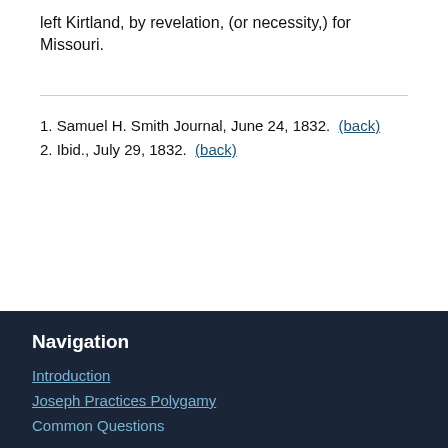left Kirtland, by revelation, (or necessity,) for Missouri.
1. Samuel H. Smith Journal, June 24, 1832.  (back)
2. Ibid., July 29, 1832.  (back)
Navigation
Introduction
Joseph Practices Polygamy
Common Questions